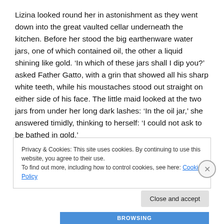Lizina looked round her in astonishment as they went down into the great vaulted cellar underneath the kitchen. Before her stood the big earthenware water jars, one of which contained oil, the other a liquid shining like gold. ‘In which of these jars shall I dip you?’ asked Father Gatto, with a grin that showed all his sharp white teeth, while his moustaches stood out straight on either side of his face. The little maid looked at the two jars from under her long dark lashes: ‘In the oil jar,’ she answered timidly, thinking to herself: ‘I could not ask to be bathed in gold.’
Privacy & Cookies: This site uses cookies. By continuing to use this website, you agree to their use.
To find out more, including how to control cookies, see here: Cookie Policy
Close and accept